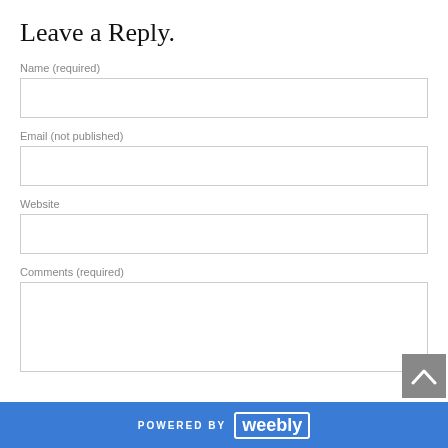Leave a Reply.
Name (required)
Email (not published)
Website
Comments (required)
POWERED BY weebly